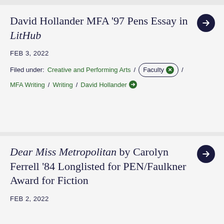David Hollander MFA '97 Pens Essay in LitHub
FEB 3, 2022
Filed under: Creative and Performing Arts / Faculty × / MFA Writing / Writing / David Hollander →
Dear Miss Metropolitan by Carolyn Ferrell '84 Longlisted for PEN/Faulkner Award for Fiction
FEB 2, 2022